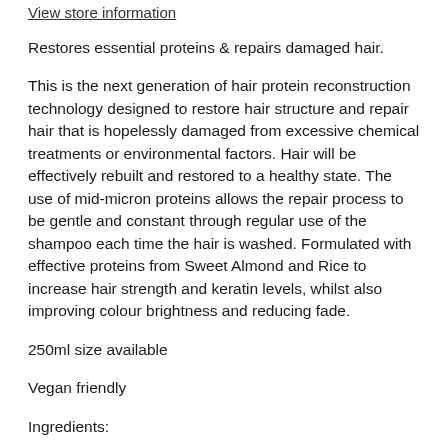View store information
Restores essential proteins & repairs damaged hair.
This is the next generation of hair protein reconstruction technology designed to restore hair structure and repair hair that is hopelessly damaged from excessive chemical treatments or environmental factors. Hair will be effectively rebuilt and restored to a healthy state. The use of mid-micron proteins allows the repair process to be gentle and constant through regular use of the shampoo each time the hair is washed. Formulated with effective proteins from Sweet Almond and Rice to increase hair strength and keratin levels, whilst also improving colour brightness and reducing fade.
250ml size available
Vegan friendly
Ingredients:
Certified Organic Aloe Barbadensis (Aloe Vera) Leaf Juice*,